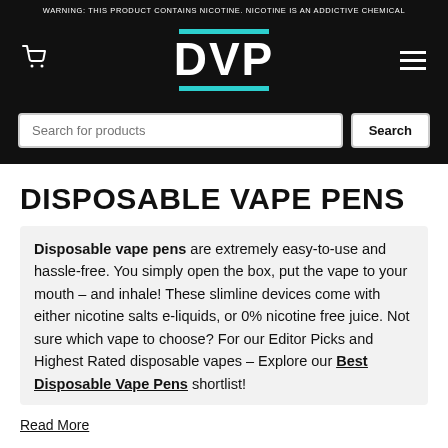WARNING: THIS PRODUCT CONTAINS NICOTINE. NICOTINE IS AN ADDICTIVE CHEMICAL
[Figure (logo): DVP logo in white text on black background with teal horizontal bars above and below the text]
DISPOSABLE VAPE PENS
Disposable vape pens are extremely easy-to-use and hassle-free. You simply open the box, put the vape to your mouth – and inhale! These slimline devices come with either nicotine salts e-liquids, or 0% nicotine free juice. Not sure which vape to choose? For our Editor Picks and Highest Rated disposable vapes – Explore our Best Disposable Vape Pens shortlist!
Read More